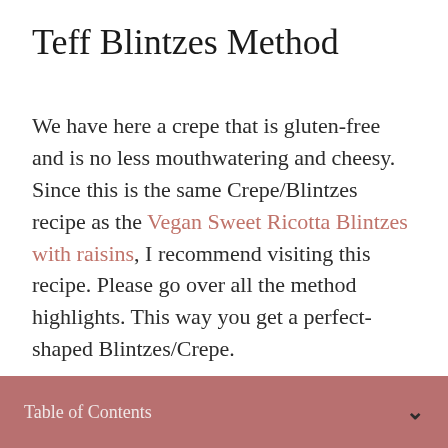Teff Blintzes Method
We have here a crepe that is gluten-free and is no less mouthwatering and cheesy. Since this is the same Crepe/Blintzes recipe as the Vegan Sweet Ricotta Blintzes with raisins, I recommend visiting this recipe. Please go over all the method highlights. This way you get a perfect-shaped Blintzes/Crepe.
Critical notes for success:
Table of Contents